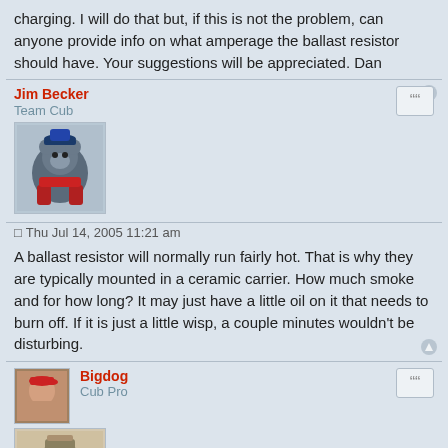charging. I will do that but, if this is not the problem, can anyone provide info on what amperage the ballast resistor should have. Your suggestions will be appreciated. Dan
Jim Becker
Team Cub
[Figure (photo): Avatar image of Jim Becker, cartoon bear character in blue outfit]
Thu Jul 14, 2005 11:21 am
A ballast resistor will normally run fairly hot. That is why they are typically mounted in a ceramic carrier. How much smoke and for how long? It may just have a little oil on it that needs to burn off. If it is just a little wisp, a couple minutes wouldn't be disturbing.
Bigdog
Cub Pro
[Figure (photo): Small profile photo of Bigdog user (person with red cap) and avatar image of bulldog character]
Thu Jul 14, 2005 12:37 pm
Jim is right, ballast resistors typically run very hot as they are dissapating a lot of energy. If you have a voltmeter, you can at least run